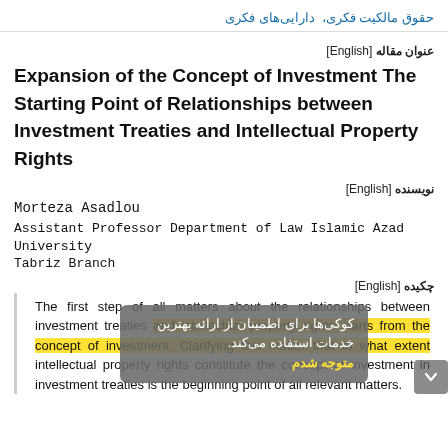حقوق مالکیت فکری،  دارایی‌های فکری
عنوان مقاله [English]
Expansion of the Concept of Investment The Starting Point of Relationships between Investment Treaties and Intellectual Property Rights
نویسنده [English]
Morteza Asadlou
Assistant Professor Department of Law Islamic Azad University Tabriz Branch
چکیده [English]
The first step of all matters about the relationships between investment treaties and intellectual property rights starts from the concept of investment. Clarifying this matter that to what extent intellectual property rights constitute the concept of investment in investment treaties is the beginning point of all relevant matters.